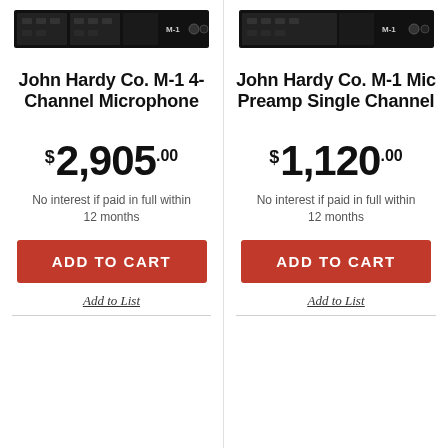[Figure (photo): John Hardy Co. M-1 4-Channel Microphone rack unit hardware photo]
John Hardy Co. M-1 4-Channel Microphone
$2,905.00
No interest if paid in full within 12 months
ADD TO CART
Add to List
[Figure (photo): John Hardy Co. M-1 Mic Preamp Single Channel rack unit hardware photo]
John Hardy Co. M-1 Mic Preamp Single Channel
$1,120.00
No interest if paid in full within 12 months
ADD TO CART
Add to List